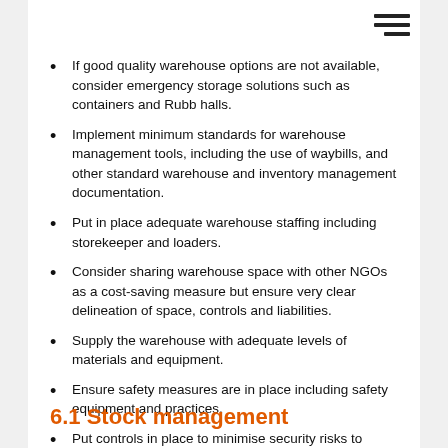If good quality warehouse options are not available, consider emergency storage solutions such as containers and Rubb halls.
Implement minimum standards for warehouse management tools, including the use of waybills, and other standard warehouse and inventory management documentation.
Put in place adequate warehouse staffing including storekeeper and loaders.
Consider sharing warehouse space with other NGOs as a cost-saving measure but ensure very clear delineation of space, controls and liabilities.
Supply the warehouse with adequate levels of materials and equipment.
Ensure safety measures are in place including safety equipment and practices.
Put controls in place to minimise security risks to warehouse and stock.
6.1 Stock management